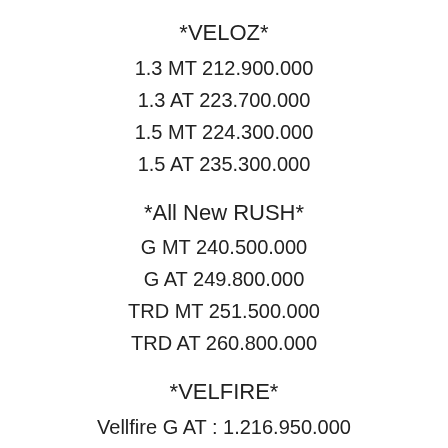*VELOZ*
1.3 MT 212.900.000
1.3 AT 223.700.000
1.5 MT 224.300.000
1.5 AT 235.300.000
*All New RUSH*
G MT 240.500.000
G AT 249.800.000
TRD MT 251.500.000
TRD AT 260.800.000
*VELFIRE*
Vellfire G AT : 1.216.950.000